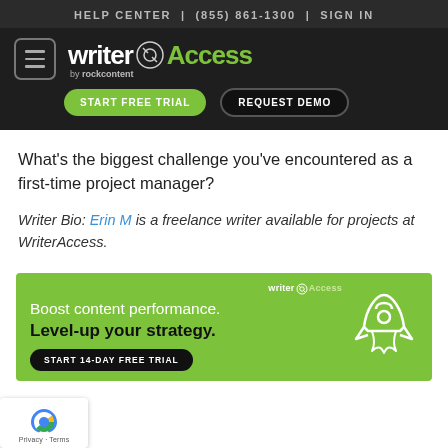HELP CENTER | (855) 861-1300 | SIGN IN
[Figure (logo): WriterAccess by rockcontent logo with hamburger menu, START FREE TRIAL and REQUEST DEMO buttons on dark background]
What's the biggest challenge you've encountered as a first-time project manager?
Writer Bio: Erin M is a freelance writer available for projects at WriterAccess.
[Figure (infographic): WriterAccess green ad banner: Boost content performance. Level-up your strategy. START 14-DAY FREE TRIAL button with rocket illustration.]